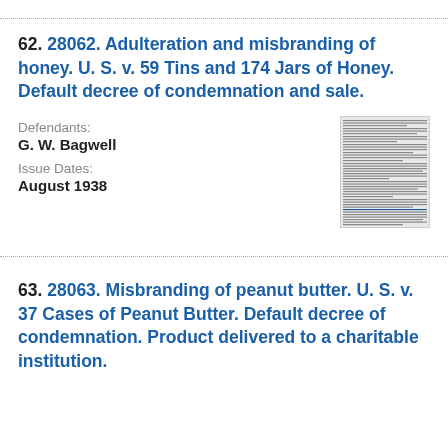62. 28062. Adulteration and misbranding of honey. U. S. v. 59 Tins and 174 Jars of Honey. Default decree of condemnation and sale.
Defendants: G. W. Bagwell
Issue Dates: August 1938
[Figure (other): Thumbnail image of a document page, small and densely printed text, partially legible.]
63. 28063. Misbranding of peanut butter. U. S. v. 37 Cases of Peanut Butter. Default decree of condemnation. Product delivered to a charitable institution.